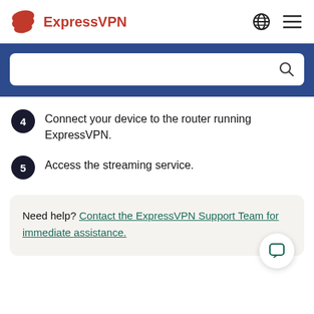ExpressVPN
[Figure (screenshot): Search bar with blue background banner]
4 Connect your device to the router running ExpressVPN.
5 Access the streaming service.
Need help? Contact the ExpressVPN Support Team for immediate assistance.